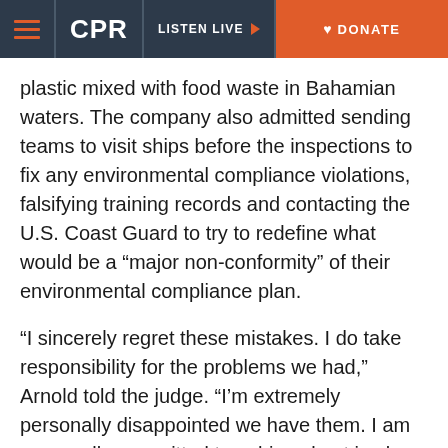CPR | LISTEN LIVE | DONATE
plastic mixed with food waste in Bahamian waters. The company also admitted sending teams to visit ships before the inspections to fix any environmental compliance violations, falsifying training records and contacting the U.S. Coast Guard to try to redefine what would be a “major non-conformity” of their environmental compliance plan.
“I sincerely regret these mistakes. I do take responsibility for the problems we had,” Arnold told the judge. “I’m extremely personally disappointed we have them. I am personally committed to achieve best in class for compliance.”